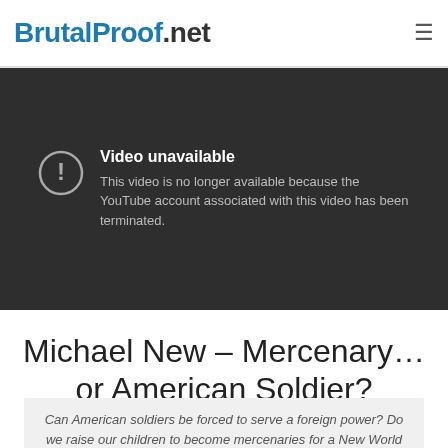BrutalProof.net
[Figure (screenshot): YouTube video unavailable error screen on dark background. Shows a circle-exclamation icon with text: 'Video unavailable. This video is no longer available because the YouTube account associated with this video has been terminated.']
Michael New – Mercenary… or American Soldier?
Can American soldiers be forced to serve a foreign power? Do we raise our children to become mercenaries for a New World Order? American sovereignty hangs in the balance.